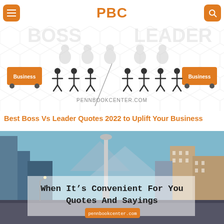PBC
[Figure (illustration): Boss vs Leader banner image with stick figures and Business labels on orange trains, PENNBOOKCENTER.COM text, hexagon background pattern]
Best Boss Vs Leader Quotes 2022 to Uplift Your Business
[Figure (photo): City street photo with a monument column, overlaid text reading: When It's Convenient For You Quotes And Sayings, pennbookcenter.com]